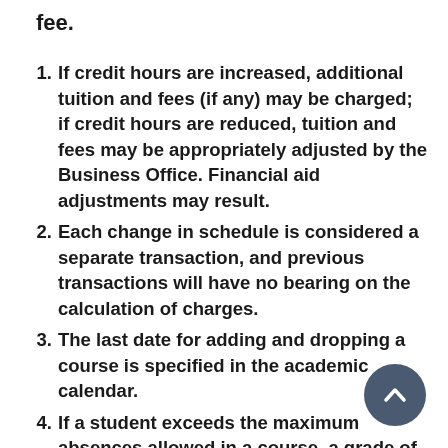fee.
1. If credit hours are increased, additional tuition and fees (if any) may be charged; if credit hours are reduced, tuition and fees may be appropriately adjusted by the Business Office. Financial aid adjustments may result.
2. Each change in schedule is considered a separate transaction, and previous transactions will have no bearing on the calculation of charges.
3. The last date for adding and dropping a course is specified in the academic calendar.
4. If a student exceeds the maximum absences allowed in a course, a grade of “W” will be entered